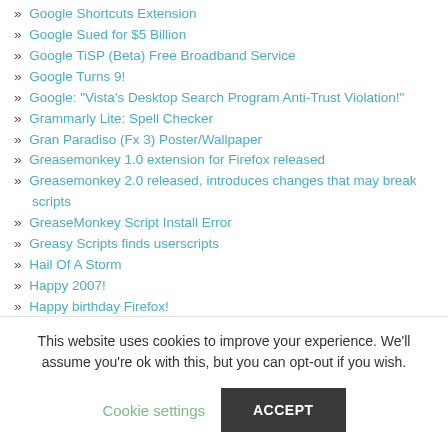» Google Shortcuts Extension
» Google Sued for $5 Billion
» Google TiSP (Beta) Free Broadband Service
» Google Turns 9!
» Google: "Vista's Desktop Search Program Anti-Trust Violation!"
» Grammarly Lite: Spell Checker
» Gran Paradiso (Fx 3) Poster/Wallpaper
» Greasemonkey 1.0 extension for Firefox released
» Greasemonkey 2.0 released, introduces changes that may break scripts
» GreaseMonkey Script Install Error
» Greasy Scripts finds userscripts
» Hail Of A Storm
» Happy 2007!
» Happy birthday Firefox!
» Happy Birthday To Us!
» Happy Birthday to Us!
This website uses cookies to improve your experience. We'll assume you're ok with this, but you can opt-out if you wish.
Cookie settings | ACCEPT